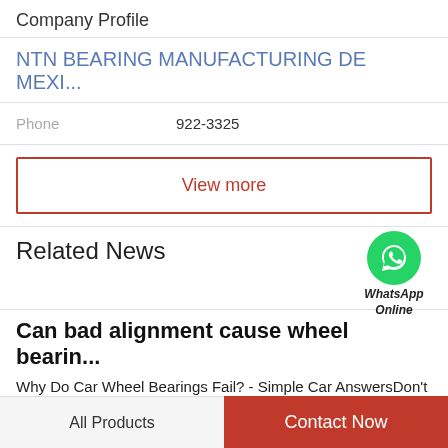Company Profile
NTN BEARING MANUFACTURING DE MEXI...
Phone   922-3325
View more
Related News
[Figure (logo): WhatsApp Online green circle logo with phone icon, labeled 'WhatsApp Online']
Can bad alignment cause wheel bearin...
Why Do Car Wheel Bearings Fail? - Simple Car AnswersDon't let your mechanic tell you to replace both car wheel bearings just Be careful not to damage the ABS sensor if the vehicle has ABS, then remove the
All Products   Contact Now